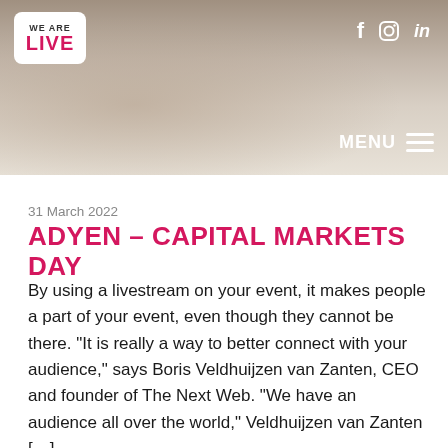[Figure (photo): Website header banner with photo of people sitting in a lounge/studio setting, with social media icons (f, Instagram, in) and MENU hamburger button on the right, and We Are Live logo in top left]
31 March 2022
ADYEN – CAPITAL MARKETS DAY
By using a livestream on your event, it makes people a part of your event, even though they cannot be there. “It is really a way to better connect with your audience,” says Boris Veldhuijzen van Zanten, CEO and founder of The Next Web. “We have an audience all over the world,” Veldhuijzen van Zanten […]